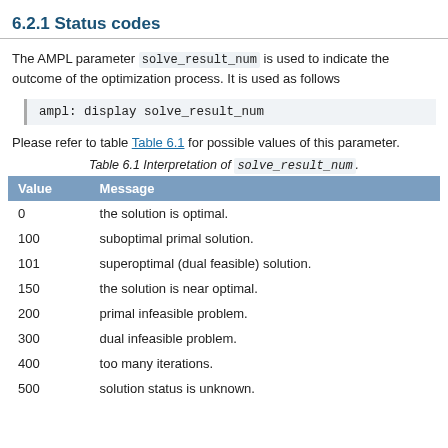6.2.1 Status codes
The AMPL parameter solve_result_num is used to indicate the outcome of the optimization process. It is used as follows
ampl: display solve_result_num
Please refer to table Table 6.1 for possible values of this parameter.
Table 6.1 Interpretation of solve_result_num.
| Value | Message |
| --- | --- |
| 0 | the solution is optimal. |
| 100 | suboptimal primal solution. |
| 101 | superoptimal (dual feasible) solution. |
| 150 | the solution is near optimal. |
| 200 | primal infeasible problem. |
| 300 | dual infeasible problem. |
| 400 | too many iterations. |
| 500 | solution status is unknown. |